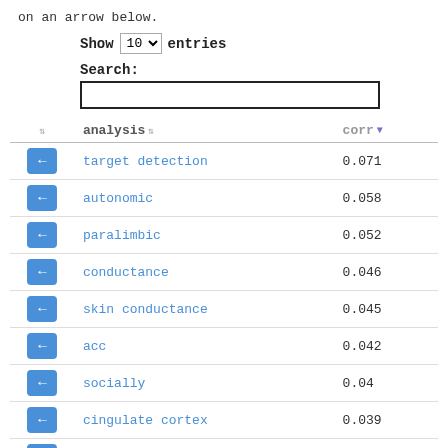on an arrow below.
Show 10 entries
Search:
|  | analysis | corr |
| --- | --- | --- |
| ← | target detection | 0.071 |
| ← | autonomic | 0.058 |
| ← | paralimbic | 0.052 |
| ← | conductance | 0.046 |
| ← | skin conductance | 0.045 |
| ← | acc | 0.042 |
| ← | socially | 0.04 |
| ← | cingulate cortex | 0.039 |
| ← | cortex acc | 0.036 |
| ← | cingulate | 0.036 |